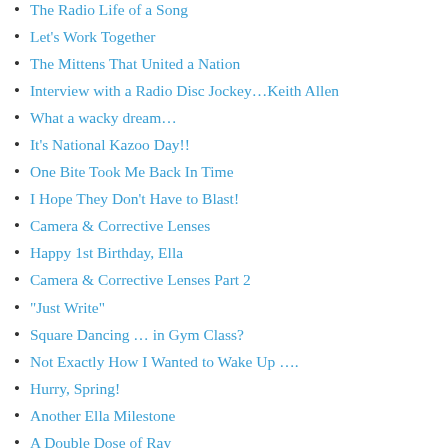The Radio Life of a Song
Let's Work Together
The Mittens That United a Nation
Interview with a Radio Disc Jockey…Keith Allen
What a wacky dream…
It's National Kazoo Day!!
One Bite Took Me Back In Time
I Hope They Don't Have to Blast!
Camera & Corrective Lenses
Happy 1st Birthday, Ella
Camera & Corrective Lenses Part 2
“Just Write”
Square Dancing … in Gym Class?
Not Exactly How I Wanted to Wake Up ….
Hurry, Spring!
Another Ella Milestone
A Double Dose of Ray
Guest Blogger: My Buddy Max
A Brief Personal Observation
Waikiki Meatballs
10 More Days …
Coffee Sweetness
No More Shop
Guest Blogger: Beatles Songs Covered (Max – Part 2)